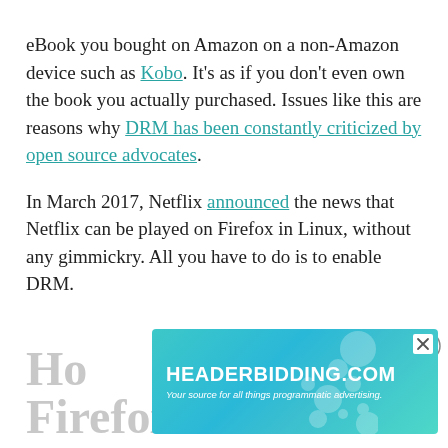eBook you bought on Amazon on a non-Amazon device such as Kobo. It's as if you don't even own the book you actually purchased. Issues like this are reasons why DRM has been constantly criticized by open source advocates.
In March 2017, Netflix announced the news that Netflix can be played on Firefox in Linux, without any gimmickry. All you have to do is to enable DRM.
[Figure (other): Advertisement banner for HEADERBIDDING.COM with tagline 'Your source for all things programmatic advertising.' on a teal gradient background.]
How to Enable Netflix on Firefox on Linux